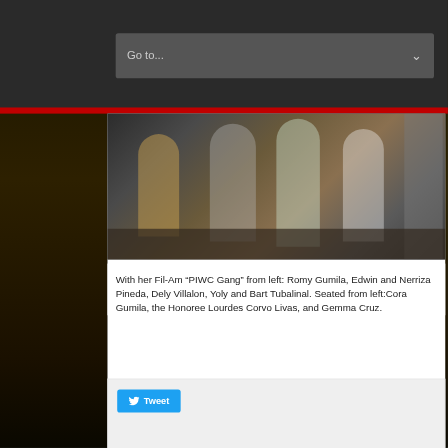[Figure (screenshot): Navigation bar with 'Go to...' dropdown selector with dark background]
[Figure (photo): Group photo of people seated and standing at a dinner table]
With her Fil-Am “PIWC Gang” from left: Romy Gumila, Edwin and Nerriza Pineda, Dely Villalon, Yoly and Bart Tubalinal. Seated from left:Cora Gumila, the Honoree Lourdes Corvo Livas, and Gemma Cruz.
[Figure (screenshot): Tweet button with Twitter bird logo]
Next: First Centennial Mortgage
ABOUT ADMINISTRATOR